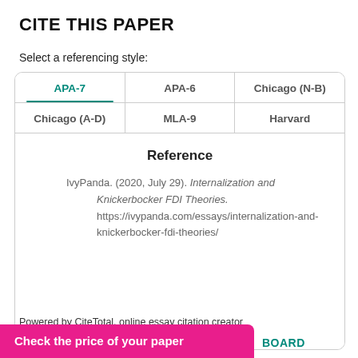CITE THIS PAPER
Select a referencing style:
| APA-7 | APA-6 | Chicago (N-B) | Chicago (A-D) | MLA-9 | Harvard |
| --- | --- | --- | --- | --- | --- |
Reference
IvyPanda. (2020, July 29). Internalization and Knickerbocker FDI Theories. https://ivypanda.com/essays/internalization-and-knickerbocker-fdi-theories/
Powered by CiteTotal, online essay citation creator
Check the price of your paper
BOARD